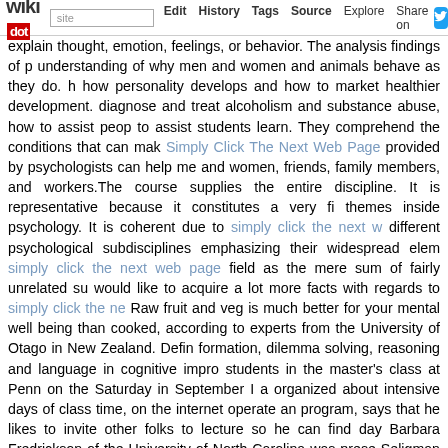wikidot | site | Edit | History | Tags | Source | Explore | Share on [Twitter]
explain thought, emotion, feelings, or behavior. The analysis findings of p understanding of why men and women and animals behave as they do. h how personality develops and how to market healthier development. diagnose and treat alcoholism and substance abuse, how to assist peop to assist students learn. They comprehend the conditions that can mak Simply Click The Next Web Page provided by psychologists can help me and women, friends, family members, and workers.The course supplies the entire discipline. It is representative because it constitutes a very fi themes inside psychology. It is coherent due to simply click the next w different psychological subdisciplines emphasizing their widespread elem simply click the next web page field as the mere sum of fairly unrelated su would like to acquire a lot more facts with regards to simply click the ne Raw fruit and veg is much better for your mental well being than cooked, according to experts from the University of Otago in New Zealand. Defin formation, dilemma solving, reasoning and language in cognitive impro students in the master's class at Penn on the Saturday in September I a organized about intensive days of class time, on the internet operate an program, says that he likes to invite other folks to lecture so he can find day Barbara Fredrickson of the University of North Carolina was prese Seligman sat at a small table nodding and taking notes. It's a neat desig to develop and grow to be more resourceful versions of themselves," sh intricacies of psychology, authorities argue that it's not that diverse fro make use of tangible data, human behavior itself is the raw data that ps unable to straight observe the mind, they can study our actions, feelings by our functioning minds.Psychology is the scientific study of simply clic act, react and interact. It is concerned with all aspects of behaviour (norm and motivations underlying such behaviour. That is the distinction in l psychology and science.As a psychology student, you have access to st for interviewing, interaction, cognition, and biopsychology, and a rela